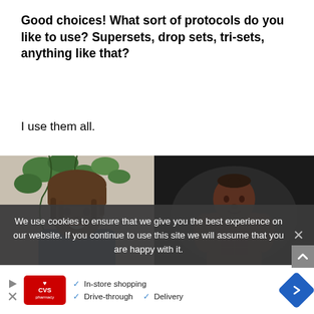Good choices! What sort of protocols do you like to use? Supersets, drop sets, tri-sets, anything like that?
I use them all.
[Figure (photo): Two side-by-side photos: left shows a smiling man with dreadlocks in a casual blue shirt in front of green plants; right shows the same man muscular on a dark competition stage posing.]
We use cookies to ensure that we give you the best experience on our website. If you continue to use this site we will assume that you are happy with it.
[Figure (screenshot): CVS Pharmacy advertisement banner showing in-store shopping, drive-through, and delivery options.]